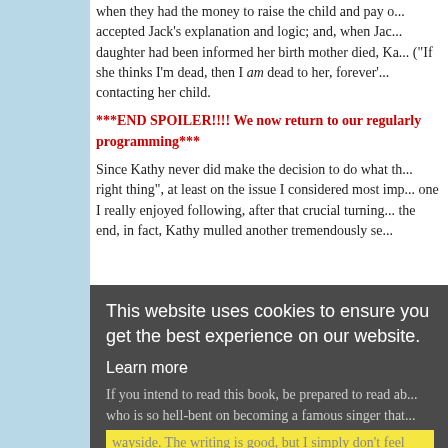when they had the money to raise the child and pay o... accepted Jack's explanation and logic; and, when Jac... daughter had been informed her birth mother died, Ka... ("If she thinks I'm dead, then I am dead to her, forever'... contacting her child.
***END SPOILER!!!! We now return to our regularly programming***
Since Kathy never did make the decision to do what th... right thing", at least on the issue I considered most imp... one I really enjoyed following, after that crucial turning... the end, in fact, Kathy mulled another tremendously se...
This website uses cookies to ensure you get the best experience on our website.
Learn more
If you intend to read this book, be prepared to read ab... who is so hell-bent on becoming a famous singer that...
wayside. The writing is good, but I simply don't feel like... with a protagonist that I found so annoying I wanted to...
Got it!
her a good kick in the shins and a lecture.